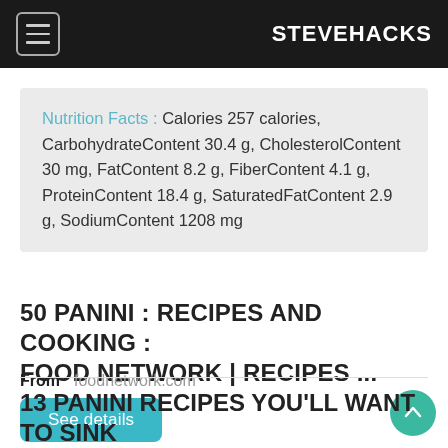STEVEHACKS
Nutrition Facts : Calories 257 calories, CarbohydrateContent 30.4 g, CholesterolContent 30 mg, FatContent 8.2 g, FiberContent 4.1 g, ProteinContent 18.4 g, SaturatedFatContent 2.9 g, SodiumContent 1208 mg
50 PANINI : RECIPES AND COOKING : FOOD NETWORK | RECIPES ...
From   foodnetwork.com
See details
13 PANINI RECIPES YOU'LL WANT TO SINK